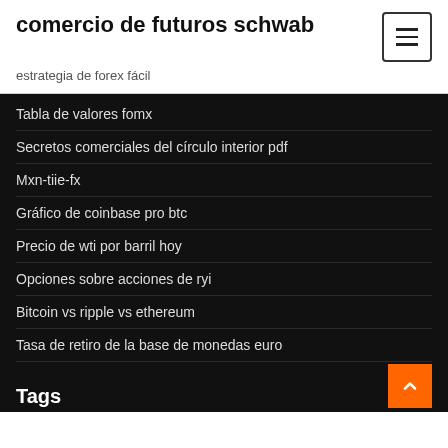comercio de futuros schwab
estrategia de forex fácil
Tabla de valores fomx
Secretos comerciales del círculo interior pdf
Mxn-tiie-fx
Gráfico de coinbase pro btc
Precio de wti por barril hoy
Opciones sobre acciones de ryi
Bitcoin vs ripple vs ethereum
Tasa de retiro de la base de monedas euro
Tags